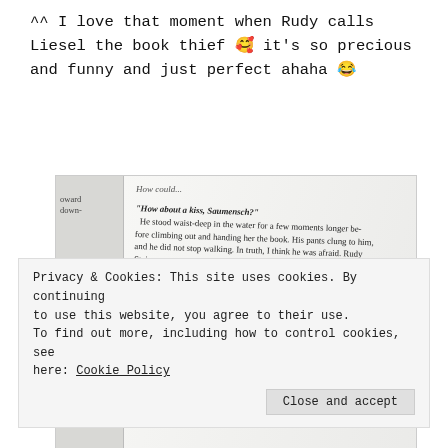^^ I love that moment when Rudy calls Liesel the book thief 🥰 it's so precious and funny and just perfect ahaha 😂
[Figure (photo): A photo of an open book showing a passage from The Book Thief by Markus Zusak. The visible text includes: 'How about a kiss, Saumensch?' He stood waist-deep in the water for a few moments longer before climbing out and handing her the book. His pants clung to him, and he did not stop walking. In truth, I think he was afraid. Rudy Steiner was scared of the book thief's kiss. He must have longed for it so much. He must have loved her so incredibly hard. So hard that he would never ask for her lips again and would go to his grave without them.]
Privacy & Cookies: This site uses cookies. By continuing to use this website, you agree to their use. To find out more, including how to control cookies, see here: Cookie Policy
Close and accept